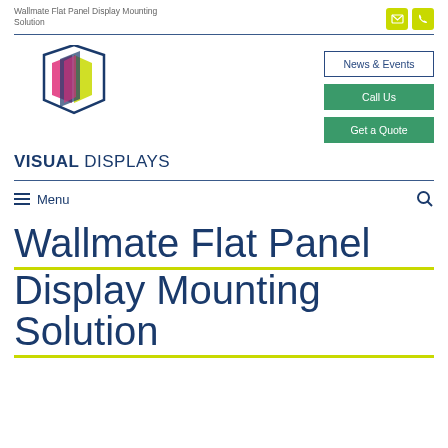Wallmate Flat Panel Display Mounting Solution
[Figure (logo): Visual Displays logo — geometric overlapping hexagonal/diamond shapes in dark blue, pink/magenta, and yellow-green, with text VISUAL DISPLAYS below]
News & Events
Call Us
Get a Quote
≡ Menu
Wallmate Flat Panel Display Mounting Solution